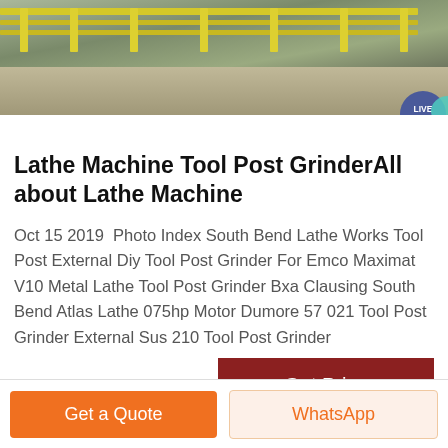[Figure (photo): Outdoor photo showing yellow fence/railing structure and gravel/dirt ground area]
Lathe Machine Tool Post GrinderAll about Lathe Machine
Oct 15 2019  Photo Index South Bend Lathe Works Tool Post External Diy Tool Post Grinder For Emco Maximat V10 Metal Lathe Tool Post Grinder Bxa Clausing South Bend Atlas Lathe 075hp Motor Dumore 57 021 Tool Post Grinder External Sus 210 Tool Post Grinder
Get Price
Get a Quote
WhatsApp